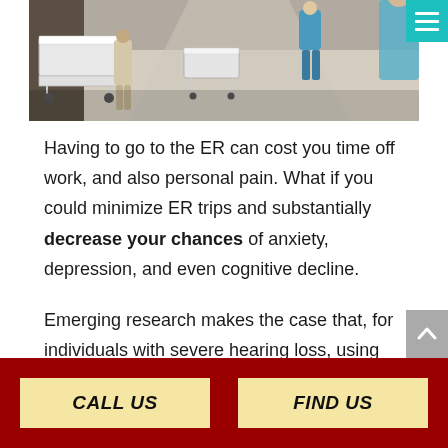[Figure (photo): Hospital corridor with medical trolleys/stretchers and healthcare workers in blue scrubs walking away]
Having to go to the ER can cost you time off work, and also personal pain. What if you could minimize ER trips and substantially decrease your chances of anxiety, depression, and even cognitive decline.
Emerging research makes the case that, for individuals with severe hearing loss, using their hearing aid could be the difference between staying
CALL US
FIND US